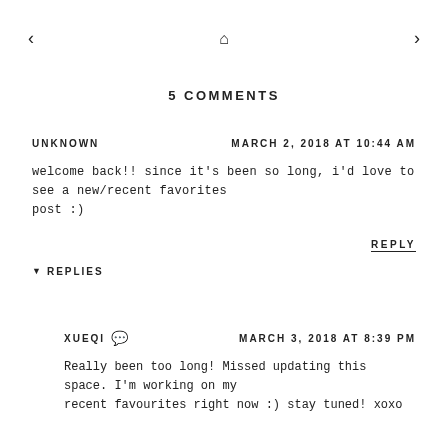< ⌂ >
5 COMMENTS
UNKNOWN   MARCH 2, 2018 AT 10:44 AM
welcome back!! since it's been so long, i'd love to see a new/recent favorites post :)
REPLY
▾ REPLIES
XUEQI 💬   MARCH 3, 2018 AT 8:39 PM
Really been too long! Missed updating this space. I'm working on my recent favourites right now :) stay tuned! xoxo